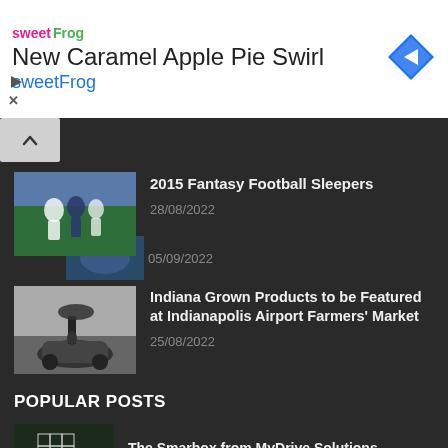[Figure (screenshot): Advertisement banner for sweetFrog 'New Caramel Apple Pie Swirl' with logo, title, subtitle, and navigation arrow icon]
05/09/2022
[Figure (photo): Photo of soccer/football players in action on a field]
2015 Fantasy Football Sleepers
28/08/2022
[Figure (photo): Black and white photo of a person with umbrella and vintage car]
Indiana Grown Products to be Featured at Indianapolis Airport Farmers' Market
25/08/2022
POPULAR POSTS
[Figure (logo): MyDrive Solutions logo - grid cube with orange base and DRIVE text]
The Smarbox from MyDrive Solutions
25/01/2022